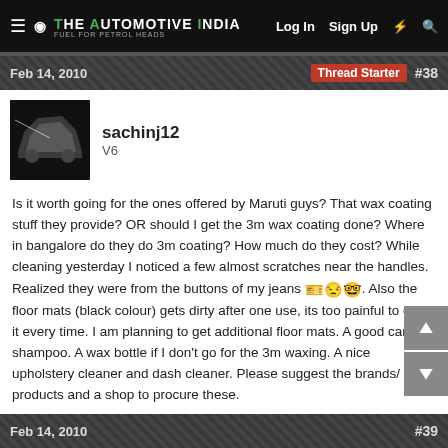The Automotive India — Log In  Sign Up
Feb 14, 2010   Thread Starter  #38
sachinj12
V6
Is it worth going for the ones offered by Maruti guys? That wax coating stuff they provide? OR should I get the 3m wax coating done? Where in bangalore do they do 3m coating? How much do they cost? While cleaning yesterday I noticed a few almost scratches near the handles. Realized they were from the buttons of my jeans. Also the floor mats (black colour) gets dirty after one use, its too painful to clean it every time. I am planning to get additional floor mats. A good car shampoo. A wax bottle if I don't go for the 3m waxing. A nice upholstery cleaner and dash cleaner. Please suggest the brands/ products and a shop to procure these.
Feb 14, 2010   #39